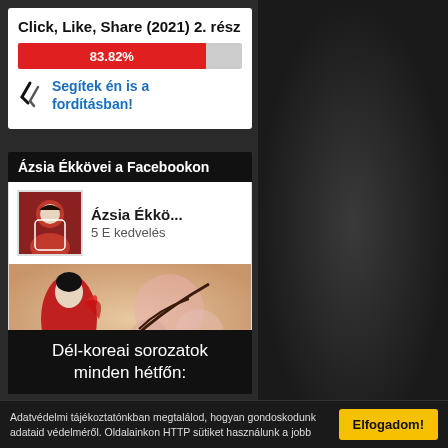Click, Like, Share (2021) 2. rész
[Figure (infographic): Progress bar showing 83.82% completion in red]
Segítek én is a fordításban!
Ázsia Ékkövei a Facebookon
[Figure (screenshot): Facebook page widget showing Ázsia Ékkö... with 5 E kedvelés and a Japanese/Asian themed cover image with a woman in red kimono. Button: Tetszik az oldal]
Dél-koreai sorozatok minden hétfőn:
MBC 19:15
Adatvédelmi tájékoztatónkban megtalálod, hogyan gondoskodunk adataid védelméről. Oldalainkon HTTP sütiket használunk a jobb